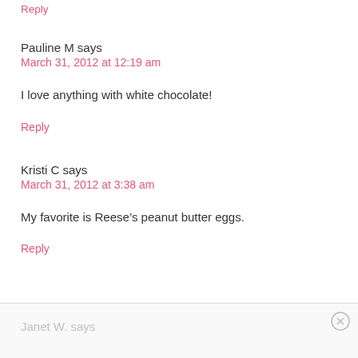Reply
Pauline M says
March 31, 2012 at 12:19 am
I love anything with white chocolate!
Reply
Kristi C says
March 31, 2012 at 3:38 am
My favorite is Reese’s peanut butter eggs.
Reply
Janet W. says